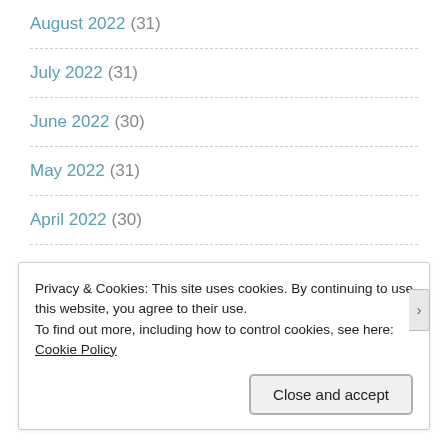August 2022 (31)
July 2022 (31)
June 2022 (30)
May 2022 (31)
April 2022 (30)
March 2022 (31)
February 2022 (28)
Privacy & Cookies: This site uses cookies. By continuing to use this website, you agree to their use.
To find out more, including how to control cookies, see here: Cookie Policy